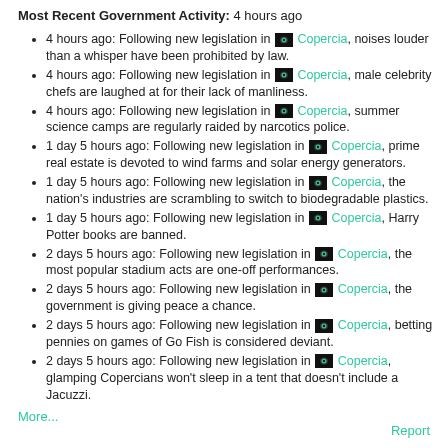Most Recent Government Activity: 4 hours ago
4 hours ago: Following new legislation in [flag] Copercia, noises louder than a whisper have been prohibited by law.
4 hours ago: Following new legislation in [flag] Copercia, male celebrity chefs are laughed at for their lack of manliness.
4 hours ago: Following new legislation in [flag] Copercia, summer science camps are regularly raided by narcotics police.
1 day 5 hours ago: Following new legislation in [flag] Copercia, prime real estate is devoted to wind farms and solar energy generators.
1 day 5 hours ago: Following new legislation in [flag] Copercia, the nation's industries are scrambling to switch to biodegradable plastics.
1 day 5 hours ago: Following new legislation in [flag] Copercia, Harry Potter books are banned.
2 days 5 hours ago: Following new legislation in [flag] Copercia, the most popular stadium acts are one-off performances.
2 days 5 hours ago: Following new legislation in [flag] Copercia, the government is giving peace a chance.
2 days 5 hours ago: Following new legislation in [flag] Copercia, betting pennies on games of Go Fish is considered deviant.
2 days 5 hours ago: Following new legislation in [flag] Copercia, glamping Copercians won't sleep in a tent that doesn't include a Jacuzzi.
More...
Report